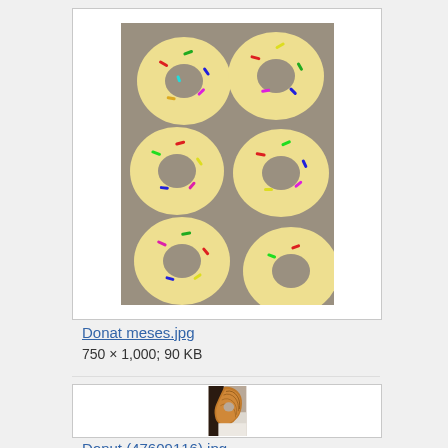[Figure (photo): Photo of multiple glazed donuts covered in colorful sprinkles, viewed from above]
Donat meses.jpg
750 × 1,000; 90 KB
[Figure (photo): Close-up photo of a glazed cruller/twist donut on a white surface, dark background]
Donut (47609116).jpg
1,944 × 2,592; 1.28 MB